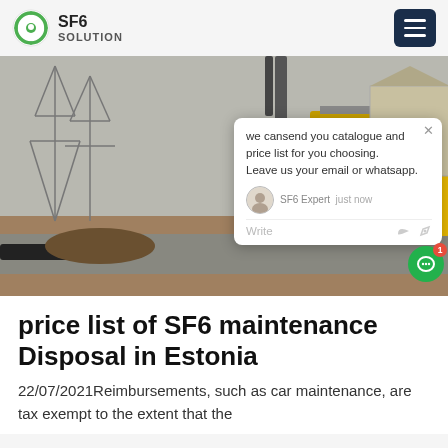SF6 SOLUTION
[Figure (photo): Outdoor high-voltage substation with SF6 gas equipment and yellow service truck; chat popup overlay visible showing 'we can send you catalogue and price list for you choosing. Leave us your email or whatsapp.' with SF6 Expert agent label.]
price list of SF6 maintenance Disposal in Estonia
22/07/2021Reimbursements, such as car maintenance, are tax exempt to the extent that the